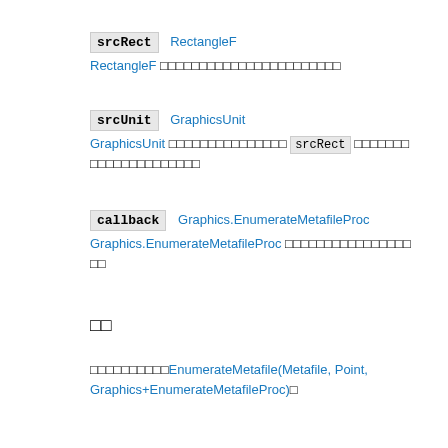srcRect  RectangleF
RectangleF □□□□□□□□□□□□□□□□□□□□□□□
srcUnit  GraphicsUnit
GraphicsUnit □□□□□□□□□□□□□□□ srcRect □□□□□□□
□□□□□□□□□□□□□□
callback  Graphics.EnumerateMetafileProc
Graphics.EnumerateMetafileProc □□□□□□□□□□□□□□□□
□□
□□
□□□□□□□□□□EnumerateMetafile(Metafile, Point, Graphics+EnumerateMetafileProc)□